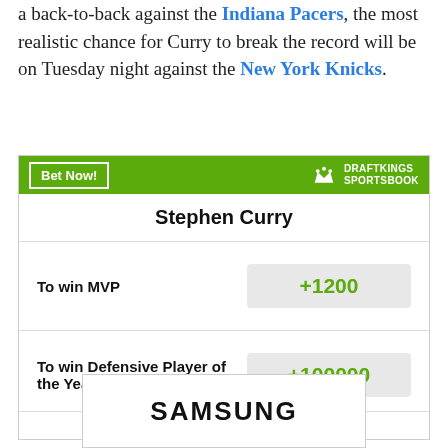a back-to-back against the Indiana Pacers, the most realistic chance for Curry to break the record will be on Tuesday night against the New York Knicks.
[Figure (infographic): DraftKings Sportsbook widget showing Stephen Curry betting odds. To win MVP: +1200. To win Defensive Player of the Year: +100000. Disclaimer: Odds/Lines subject to change. See draftkings.com for details.]
[Figure (logo): Samsung logo in a bordered rectangle]